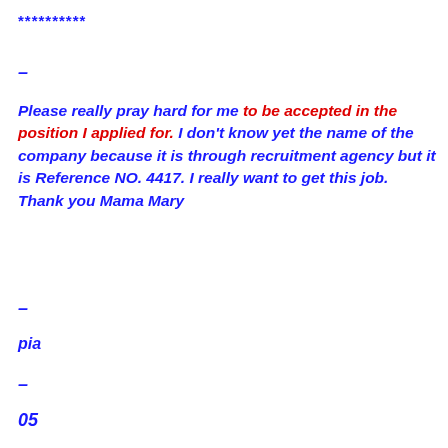**********
–
Please really pray hard for me to be accepted in the position I applied for. I don't know yet the name of the company because it is through recruitment agency but it is Reference NO. 4417. I really want to get this job. Thank you Mama Mary
–
pia
–
05